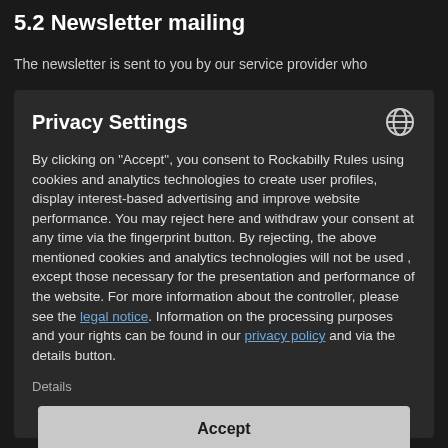5.2 Newsletter mailing
The newsletter is sent to you by our service provider who
Privacy Settings
By clicking on "Accept", you consent to Rockabilly Rules using cookies and analytics technologies to create user profiles, display interest-based advertising and improve website performance. You may reject here and withdraw your consent at any time via the fingerprint button. By rejecting, the above mentioned cookies and analytics technologies will not be used , except those necessary for the presentation and performance of the website. For more information about the controller, please see the legal notice. Information on the processing purposes and your rights can be found in our privacy policy and via the details button.
Details
Accept
Reject
Powered by Usercentrics Consent Management & Trusted Shops